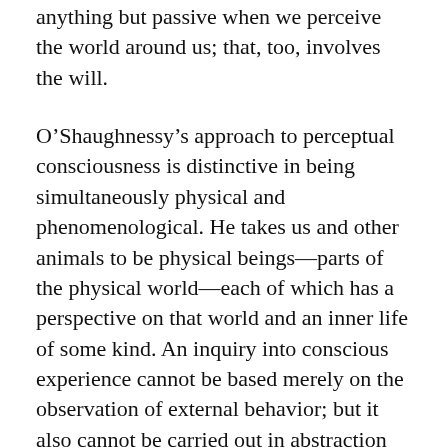anything but passive when we perceive the world around us; that, too, involves the will.
O'Shaughnessy's approach to perceptual consciousness is distinctive in being simultaneously physical and phenomenological. He takes us and other animals to be physical beings—parts of the physical world—each of which has a perspective on that world and an inner life of some kind. An inquiry into conscious experience cannot be based merely on the observation of external behavior; but it also cannot be carried out in abstraction from our physical nature. The understanding of the inner life of the person who is conscious must include the physical body from the start. In his new book O'Shaughnessy develops an account of human consciousness as a continual process by which we